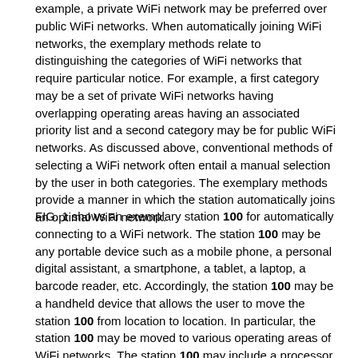example, a private WiFi network may be preferred over public WiFi networks. When automatically joining WiFi networks, the exemplary methods relate to distinguishing the categories of WiFi networks that require particular notice. For example, a first category may be a set of private WiFi networks having overlapping operating areas having an associated priority list and a second category may be for public WiFi networks. As discussed above, conventional methods of selecting a WiFi network often entail a manual selection by the user in both categories. The exemplary methods provide a manner in which the station automatically joins an optimal WiFi network.
FIG. 1 shows an exemplary station 100 for automatically connecting to a WiFi network. The station 100 may be any portable device such as a mobile phone, a personal digital assistant, a smartphone, a tablet, a laptop, a barcode reader, etc. Accordingly, the station 100 may be a handheld device that allows the user to move the station 100 from location to location. In particular, the station 100 may be moved to various operating areas of WiFi networks. The station 100 may include a processor 105, a memory arrangement 110, a display device 115, an input/output